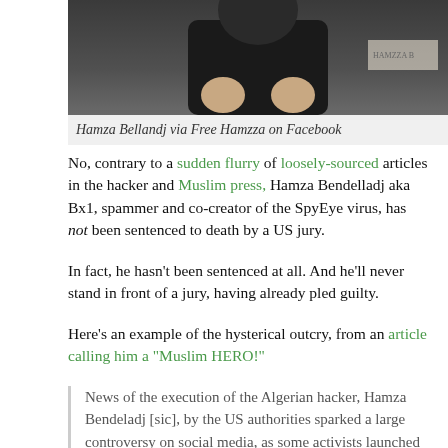[Figure (photo): Photo of a person in dark clothing, partially cropped, with a name placard visible in the background]
Hamza Bellandj via Free Hamzza on Facebook
No, contrary to a sudden flurry of loosely-sourced articles in the hacker and Muslim press, Hamza Bendelladj aka Bx1, spammer and co-creator of the SpyEye virus, has not been sentenced to death by a US jury.
In fact, he hasn't been sentenced at all. And he'll never stand in front of a jury, having already pled guilty.
Here's an example of the hysterical outcry, from an article calling him a "Muslim HERO!"
News of the execution of the Algerian hacker, Hamza Bendeladj [sic], by the US authorities sparked a large controversy on social media, as some activists launched a campaign of support